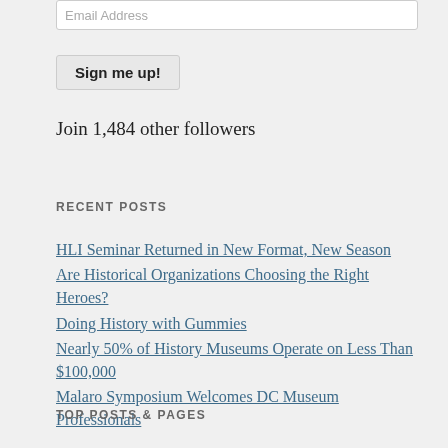Email Address
Sign me up!
Join 1,484 other followers
RECENT POSTS
HLI Seminar Returned in New Format, New Season
Are Historical Organizations Choosing the Right Heroes?
Doing History with Gummies
Nearly 50% of History Museums Operate on Less Than $100,000
Malaro Symposium Welcomes DC Museum Professionals
TOP POSTS & PAGES